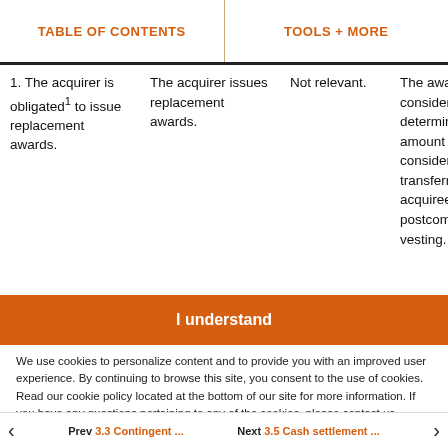TABLE OF CONTENTS | TOOLS + MORE
| 1. The acquirer is obligated¹ to issue replacement awards. | The acquirer issues replacement awards. | Not relevant. | The awards considered determination amount of consideration transferred acquiree or postcombination vesting. |
| 2. The acquirer not obligated to issue replacement awards. | The acquirer issues replacement awards. | The awards granted. | The entire fair value replacement awards is recognized as compensation postcombination |
I understand
We use cookies to personalize content and to provide you with an improved user experience. By continuing to browse this site, you consent to the use of cookies. Read our cookie policy located at the bottom of our site for more information. If you have any questions pertaining to any of the cookies, please contact us us_viewpoint.support@pwc.com.
Prev 3.3 Contingent ... Next 3.5 Cash settlement ...